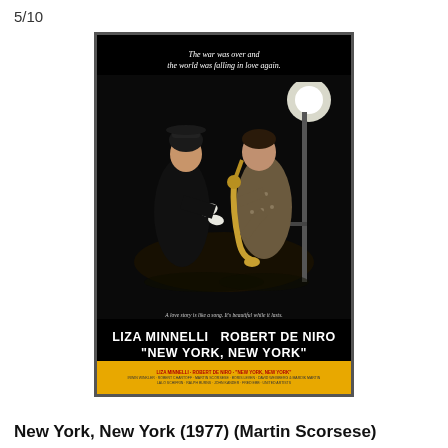5/10
[Figure (photo): Movie poster for New York, New York (1977) directed by Martin Scorsese. Black background poster featuring Liza Minnelli and Robert De Niro. Top text reads 'The war was over and the world was falling in love again.' The two stars are shown close together, De Niro playing saxophone. Bottom has white bold text 'LIZA MINNELLI ROBERT DE NIRO' and '"NEW YORK NEW YORK"'. A yellow strip at the bottom contains red title credits text.]
New York, New York (1977) (Martin Scorsese)